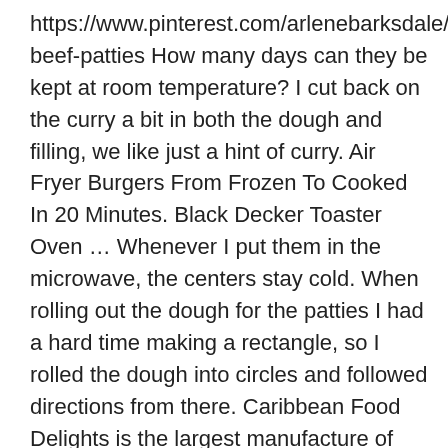https://www.pinterest.com/arlenebarksdale/jamaican-beef-patties How many days can they be kept at room temperature? I cut back on the curry a bit in both the dough and filling, we like just a hint of curry. Air Fryer Burgers From Frozen To Cooked In 20 Minutes. Black Decker Toaster Oven … Whenever I put them in the microwave, the centers stay cold. When rolling out the dough for the patties I had a hard time making a rectangle, so I rolled the dough into circles and followed directions from there. Caribbean Food Delights is the largest manufacture of Jamaican Frozen Food Products in the United States. These will be in regular meal rotation. They are virtually the same in size and heat, making it a perfect substitute in this recipe. You're in luck. I am getting a bunch of different answers online, probably all correct, but how long should I cook those premade frozen beef patties